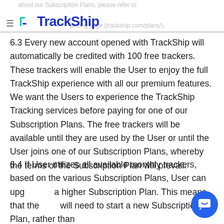about our Subscription Plans, please refer to pricing page (trackship.com/plans/).
6.3 Every new account opened with TrackShip will automatically be credited with 100 free trackers. These trackers will enable the User to enjoy the full TrackShip experience with all our premium features. We want the Users to experience the TrackShip Tracking services before paying for one of our Subscription Plans. The free trackers will be available until they are used by the User or until the User joins one of our Subscription Plans, whereby the terms of the Subscription Plan will prevail.
6.4 If User utilizes all available monthly trackers, based on the various Subscription Plans, User can upgrade to a higher Subscription Plan. This means that the User will need to start a new Subscription Plan, rather than